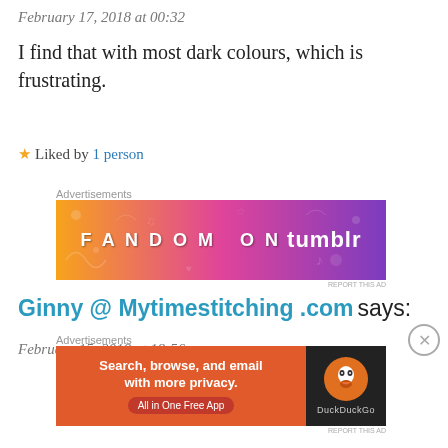February 17, 2018 at 00:32
I find that with most dark colours, which is frustrating.
★ Liked by 1 person
[Figure (other): Fandom on Tumblr advertisement banner with gradient orange-to-purple background]
Ginny @ Mytimestitching .com says:
February 15, 2018 at 18:56
[Figure (other): DuckDuckGo advertisement: Search, browse, and email with more privacy. All in One Free App]